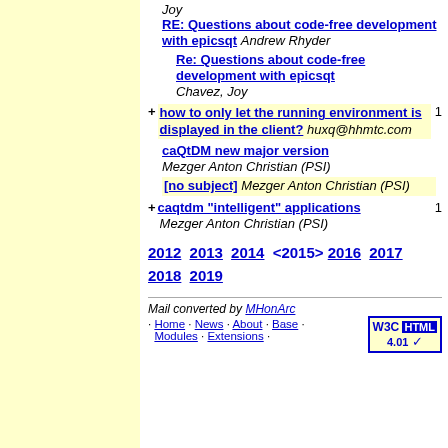Joy
RE: Questions about code-free development with epicsqt Andrew Rhyder
Re: Questions about code-free development with epicsqt Chavez, Joy
+ how to only let the running environment is displayed in the client? huxq@hhmtc.com  1
caQtDM new major version Mezger Anton Christian (PSI)
[no subject] Mezger Anton Christian (PSI)
+ caqtdm "intelligent" applications Mezger Anton Christian (PSI)  1
2012 2013 2014 <2015> 2016 2017 2018 2019
Mail converted by MHonArc
· Home · News · About · Base · Modules · Extensions ·